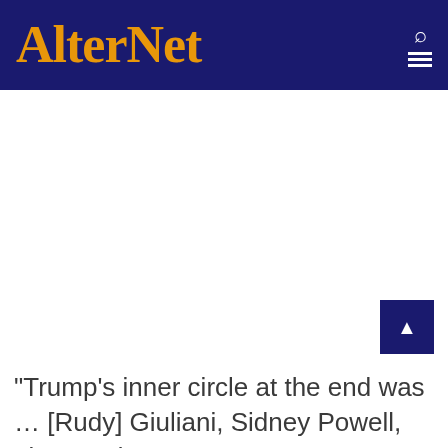AlterNet
"Trump's inner circle at the end was … [Rudy] Giuliani, Sidney Powell, Lin Wood, Peter Navarro," Mulvaney tweeted. "Garbage in.